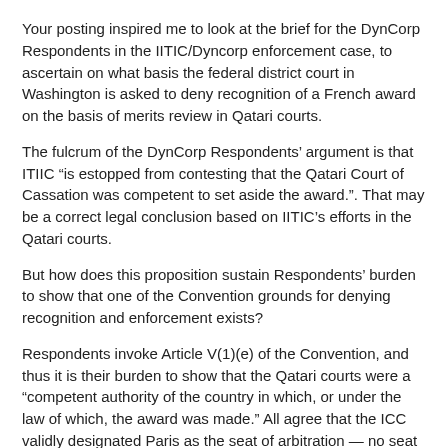Your posting inspired me to look at the brief for the DynCorp Respondents in the IITIC/Dyncorp enforcement case, to ascertain on what basis the federal district court in Washington is asked to deny recognition of a French award on the basis of merits review in Qatari courts.
The fulcrum of the DynCorp Respondents’ argument is that ITIIC “is estopped from contesting that the Qatari Court of Cassation was competent to set aside the award.”. That may be a correct legal conclusion based on IITIC’s efforts in the Qatari courts.
But how does this proposition sustain Respondents’ burden to show that one of the Convention grounds for denying recognition and enforcement exists?
Respondents invoke Article V(1)(e) of the Convention, and thus it is their burden to show that the Qatari courts were a “competent authority of the country in which, or under the law of which, the award was made.” All agree that the ICC validly designated Paris as the seat of arbitration — no seat having been designated in the arbitration agreement. Thus, the award was made in France.
There remains the possibility that the parties might have agreed to proceed before the Paris-seated tribunal under the arbitral